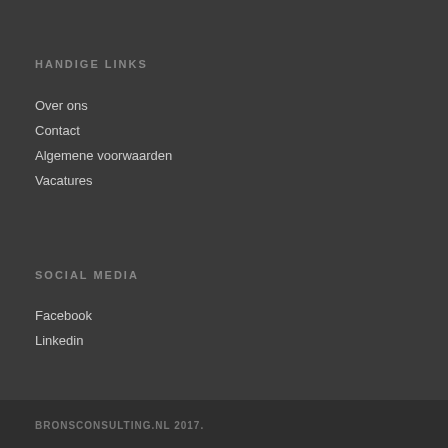HANDIGE LINKS
Over ons
Contact
Algemene voorwaarden
Vacatures
SOCIAL MEDIA
Facebook
Linkedin
BRONSCONSULTING.nl 2017.